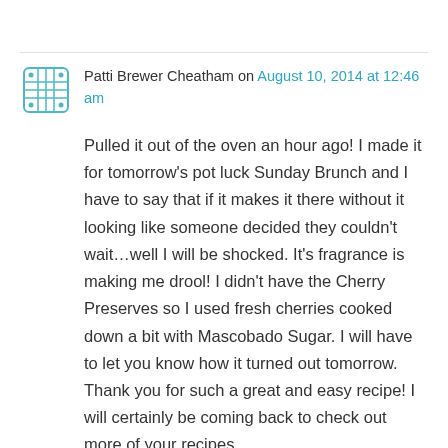Patti Brewer Cheatham on August 10, 2014 at 12:46 am
Pulled it out of the oven an hour ago! I made it for tomorrow's pot luck Sunday Brunch and I have to say that if it makes it there without it looking like someone decided they couldn't wait…well I will be shocked. It's fragrance is making me drool! I didn't have the Cherry Preserves so I used fresh cherries cooked down a bit with Mascobado Sugar. I will have to let you know how it turned out tomorrow. Thank you for such a great and easy recipe! I will certainly be coming back to check out more of your recipes.
Liked by 1 person